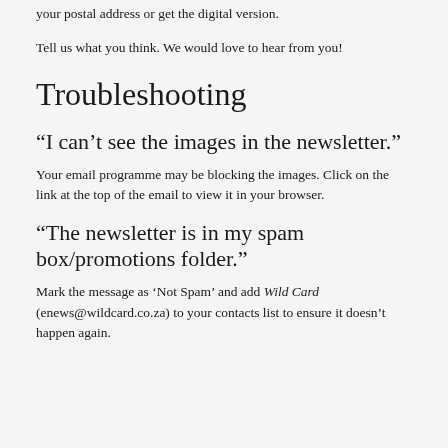your postal address or get the digital version.
Tell us what you think. We would love to hear from you!
Troubleshooting
“I can’t see the images in the newsletter.”
Your email programme may be blocking the images. Click on the link at the top of the email to view it in your browser.
“The newsletter is in my spam box/promotions folder.”
Mark the message as ‘Not Spam’ and add Wild Card (enews@wildcard.co.za) to your contacts list to ensure it doesn’t happen again.